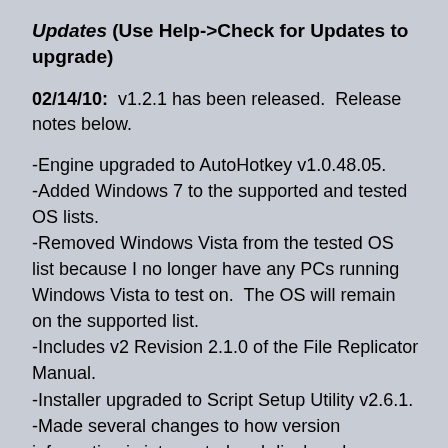Updates (Use Help->Check for Updates to upgrade)
02/14/10:  v1.2.1 has been released.  Release notes below.
-Engine upgraded to AutoHotkey v1.0.48.05.
-Added Windows 7 to the supported and tested OS lists.
-Removed Windows Vista from the tested OS list because I no longer have any PCs running Windows Vista to test on.  The OS will remain on the supported list.
-Includes v2 Revision 2.1.0 of the File Replicator Manual.
-Installer upgraded to Script Setup Utility v2.6.1.
-Made several changes to how version information is interpreted and displayed.
Please Note: Upgrades from v1.0.0 or older are...